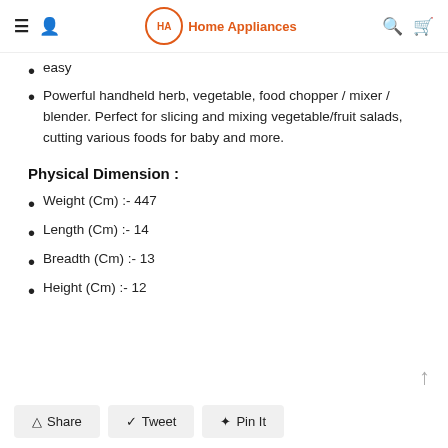Home Appliances — navigation bar with menu, user, logo, search, cart icons
easy
Powerful handheld herb, vegetable, food chopper / mixer / blender. Perfect for slicing and mixing vegetable/fruit salads, cutting various foods for baby and more.
Physical Dimension :
Weight (Cm) :- 447
Length (Cm) :- 14
Breadth (Cm) :- 13
Height (Cm) :- 12
Share  Tweet  Pin It